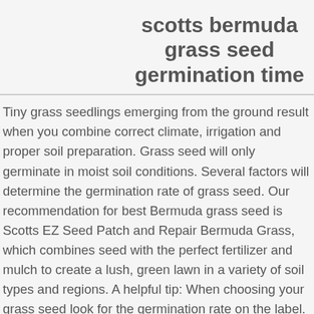scotts bermuda grass seed germination time
Tiny grass seedlings emerging from the ground result when you combine correct climate, irrigation and proper soil preparation. Grass seed will only germinate in moist soil conditions. Several factors will determine the germination rate of grass seed. Our recommendation for best Bermuda grass seed is Scotts EZ Seed Patch and Repair Bermuda Grass, which combines seed with the perfect fertilizer and mulch to create a lush, green lawn in a variety of soil types and regions. A helpful tip: When choosing your grass seed look for the germination rate on the label. In ideal condition, Bermuda seeds (un-hulled) can germinate in 7 to 14 days and can fully grow as grass within 60 to 90 days. Germination Time Frame Fescue seeds takes approximately 14 to 21 days to germinate. Warm-season grasses take more time. If you have any further questions, we would like for the municipality to be contacted at 877...